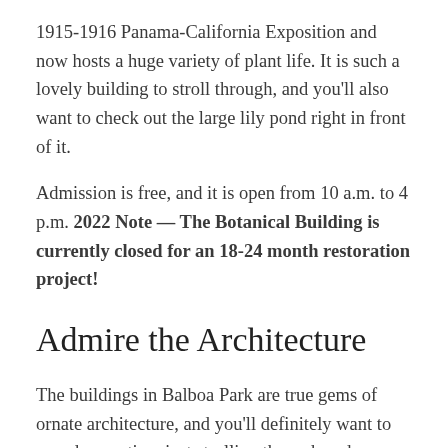1915-1916 Panama-California Exposition and now hosts a huge variety of plant life. It is such a lovely building to stroll through, and you'll also want to check out the large lily pond right in front of it.
Admission is free, and it is open from 10 a.m. to 4 p.m. 2022 Note — The Botanical Building is currently closed for an 18-24 month restoration project!
Admire the Architecture
The buildings in Balboa Park are true gems of ornate architecture, and you'll definitely want to spend some time just strolling through and admiring them. For the best spots you'll want to visit the Prado, Pomo...